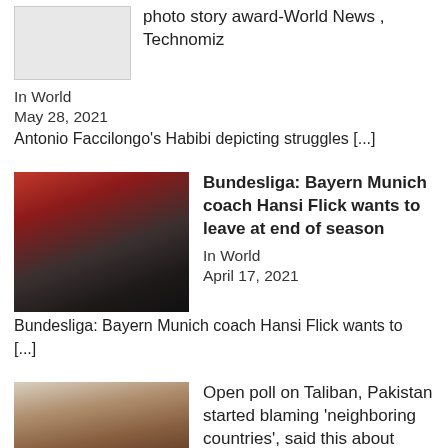[Figure (photo): Placeholder thumbnail image (grey box)]
photo story award-World News , Technomiz
In World
May 28, 2021
Antonio Faccilongo's Habibi depicting struggles [...]
[Figure (photo): Photo of Hansi Flick, Bayern Munich coach]
Bundesliga: Bayern Munich coach Hansi Flick wants to leave at end of season
In World
April 17, 2021
Bundesliga: Bayern Munich coach Hansi Flick wants to [...]
[Figure (photo): Photo of a man speaking, possibly a political figure]
Open poll on Taliban, Pakistan started blaming 'neighboring countries', said this about India, Pakistan NSA alleges social media accounts from neighboring countries maligning Islamabad